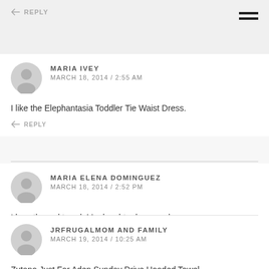REPLY
MARIA IVEY
MARCH 18, 2014 / 2:55 AM
I like the Elephantasia Toddler Tie Waist Dress.
REPLY
MARIA ELENA DOMINGUEZ
MARCH 18, 2014 / 2:52 PM
I love the owl towel. My daughter loves owls
REPLY
JRFRUGALMOM AND FAMILY
MARCH 19, 2014 / 10:25 AM
Zutano Just For Aden Sunday Drive Hooded Towel